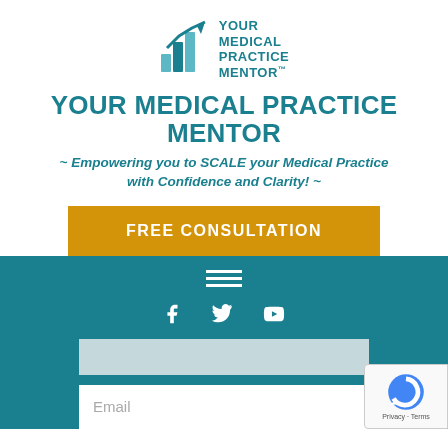[Figure (logo): Your Medical Practice Mentor logo with bar chart/arrow icon in teal and teal text]
YOUR MEDICAL PRACTICE MENTOR
~ Empowering you to SCALE your Medical Practice with Confidence and Clarity! ~
FREE CONSULTATION
[Figure (infographic): Teal navigation bar with hamburger menu icon (three white lines) and social media icons (Facebook, Twitter/X, YouTube) in white]
Email